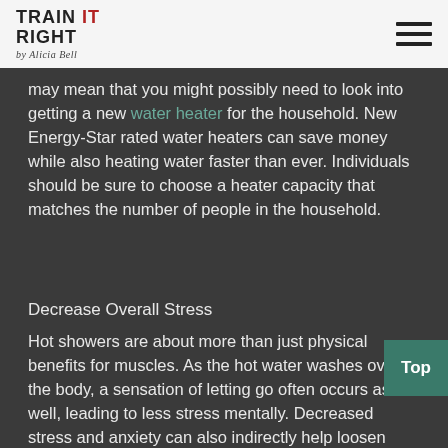Train It Right by Alicia Bell
may mean that you might possibly need to look into getting a new water heater for the household. New Energy-Star rated water heaters can save money while also heating water faster than ever. Individuals should be sure to choose a heater capacity that matches the number of people in the household.
Decrease Overall Stress
Hot showers are about more than just physical benefits for muscles. As the hot water washes over the body, a sensation of letting go often occurs as well, leading to less stress mentally. Decreased stress and anxiety can also indirectly help loosen muscles. Of course, hot showers are beneficial for more than